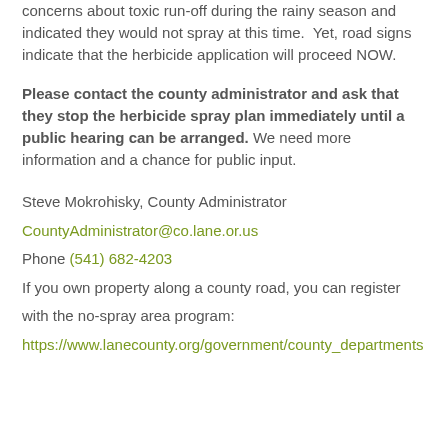concerns about toxic run-off during the rainy season and indicated they would not spray at this time.  Yet, road signs indicate that the herbicide application will proceed NOW.
Please contact the county administrator and ask that they stop the herbicide spray plan immediately until a public hearing can be arranged. We need more information and a chance for public input.
Steve Mokrohisky, County Administrator
CountyAdministrator@co.lane.or.us
Phone (541) 682-4203
If you own property along a county road, you can register with the no-spray area program:
https://www.lanecounty.org/government/county_departments